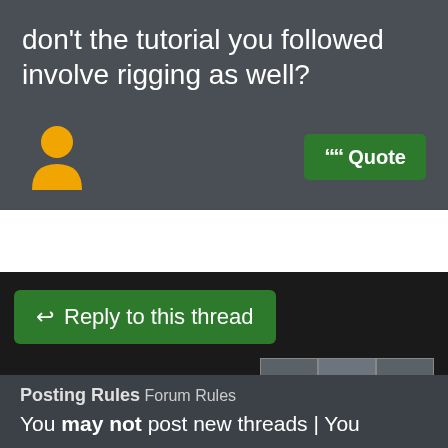don't the tutorial you followed involve rigging as well?
[Figure (illustration): Yellow user/person silhouette icon]
Quote
↩ Reply to this thread
1 2 >
Posting Rules Forum Rules
You may not post new threads | You